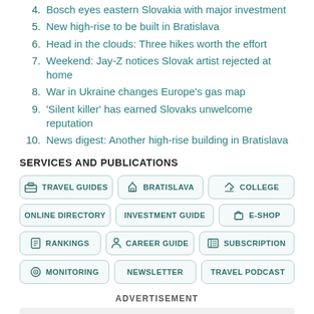4. Bosch eyes eastern Slovakia with major investment
5. New high-rise to be built in Bratislava
6. Head in the clouds: Three hikes worth the effort
7. Weekend: Jay-Z notices Slovak artist rejected at home
8. War in Ukraine changes Europe's gas map
9. 'Silent killer' has earned Slovaks unwelcome reputation
10. News digest: Another high-rise building in Bratislava
SERVICES AND PUBLICATIONS
[Figure (infographic): Services and publications buttons grid: TRAVEL GUIDES, BRATISLAVA, COLLEGE, ONLINE DIRECTORY, INVESTMENT GUIDE, E-SHOP, RANKINGS, CAREER GUIDE, SUBSCRIPTION, MONITORING, NEWSLETTER, TRAVEL PODCAST]
ADVERTISEMENT